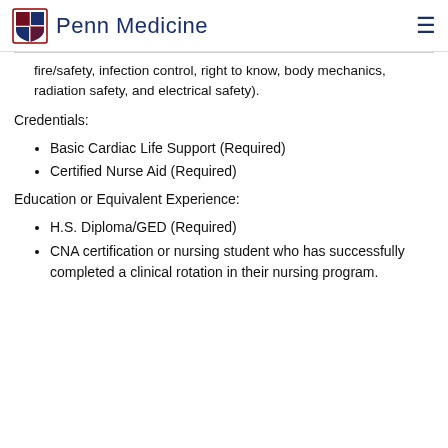Penn Medicine
fire/safety, infection control, right to know, body mechanics, radiation safety, and electrical safety).
Credentials:
Basic Cardiac Life Support (Required)
Certified Nurse Aid (Required)
Education or Equivalent Experience:
H.S. Diploma/GED (Required)
CNA certification or nursing student who has successfully completed a clinical rotation in their nursing program.